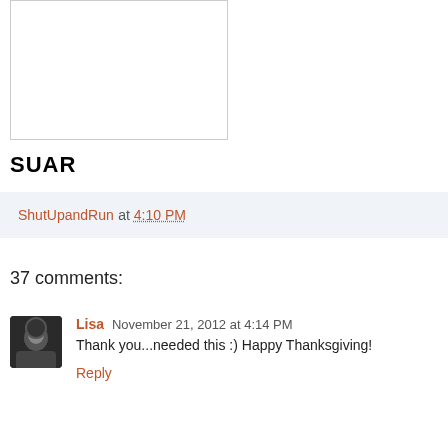[Figure (other): Empty white image box with light gray border]
SUAR
ShutUpandRun at 4:10 PM
37 comments:
Lisa November 21, 2012 at 4:14 PM
Thank you...needed this :) Happy Thanksgiving!
Reply